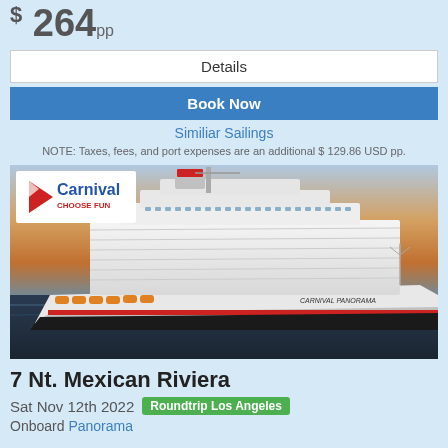$ 264 pp
Details
Book Now
Similiar Sailings
NOTE: Taxes, fees, and port expenses are an additional $ 129.86 USD pp.
[Figure (photo): Carnival Panorama cruise ship at sea with sunset background. Carnival 'Choose Fun' logo in top-left corner of image.]
7 Nt. Mexican Riviera
Sat Nov 12th 2022  Roundtrip Los Angeles
Onboard Panorama